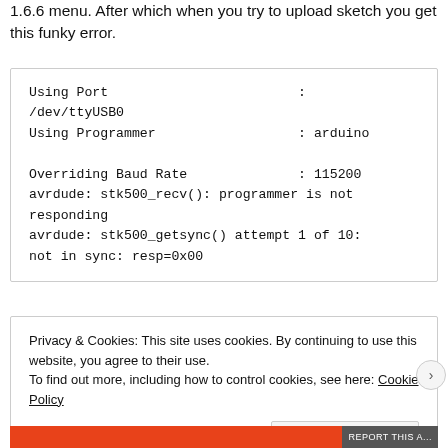1.6.6 menu. After which when you try to upload sketch you get this funky error.
Using Port                        :
/dev/ttyUSB0
Using Programmer                  : arduino

Overriding Baud Rate              : 115200
avrdude: stk500_recv(): programmer is not responding
avrdude: stk500_getsync() attempt 1 of 10:
not in sync: resp=0x00
Privacy & Cookies: This site uses cookies. By continuing to use this website, you agree to their use.
To find out more, including how to control cookies, see here: Cookie Policy
Close and accept